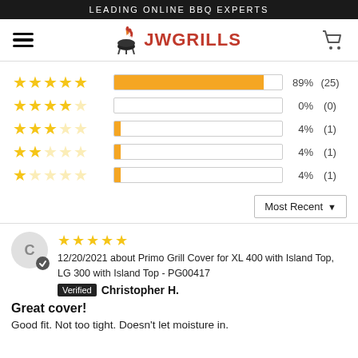LEADING ONLINE BBQ EXPERTS
[Figure (logo): JW Grills logo with flame icon and red text]
[Figure (bar-chart): Star rating distribution]
Most Recent
12/20/2021 about Primo Grill Cover for XL 400 with Island Top, LG 300 with Island Top - PG00417
Verified Christopher H.
Great cover!
Good fit. Not too tight. Doesn't let moisture in.